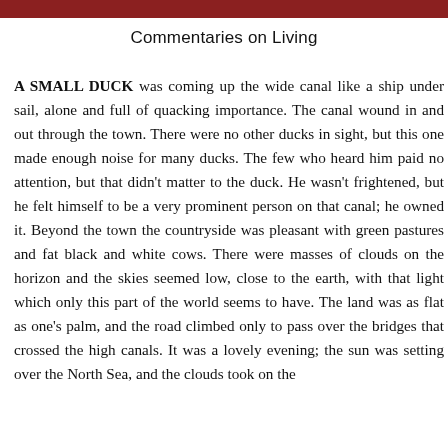Commentaries on Living
A SMALL DUCK was coming up the wide canal like a ship under sail, alone and full of quacking importance. The canal wound in and out through the town. There were no other ducks in sight, but this one made enough noise for many ducks. The few who heard him paid no attention, but that didn't matter to the duck. He wasn't frightened, but he felt himself to be a very prominent person on that canal; he owned it. Beyond the town the countryside was pleasant with green pastures and fat black and white cows. There were masses of clouds on the horizon and the skies seemed low, close to the earth, with that light which only this part of the world seems to have. The land was as flat as one's palm, and the road climbed only to pass over the bridges that crossed the high canals. It was a lovely evening; the sun was setting over the North Sea, and the clouds took on the